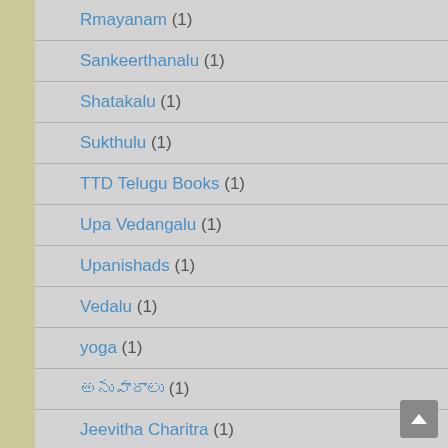Rmayanam (1)
Sankeerthanalu (1)
Shatakalu (1)
Sukthulu (1)
TTD Telugu Books (1)
Upa Vedangalu (1)
Upanishads (1)
Vedalu (1)
yoga (1)
అనువాదాలు (1)
Jeevitha Charitra (1)
Mahilalu (1)